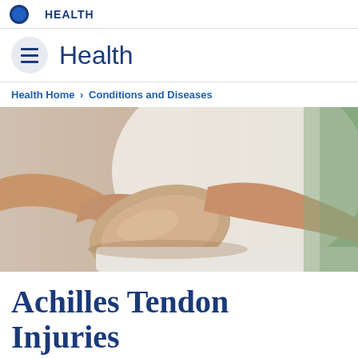Health
Health
Health Home > Conditions and Diseases
[Figure (photo): Close-up photo of a medical professional's hands examining or massaging a patient's lower leg/ankle area. The patient is wearing white pants, and the background is blurred green/white.]
Achilles Tendon Injuries